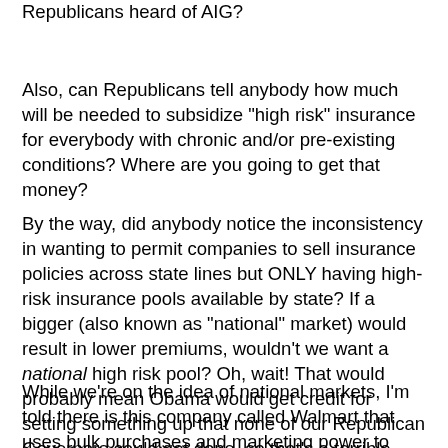Republicans heard of AIG?
Also, can Republicans tell anybody how much will be needed to subsidize "high risk" insurance for everybody with chronic and/or pre-existing conditions? Where are you going to get that money?
By the way, did anybody notice the inconsistency in wanting to permit companies to sell insurance policies across state lines but ONLY having high-risk insurance pools available by state? If a bigger (also known as "national" market) would result in lower premiums, wouldn't we want a national high risk pool? Oh, wait! That would probably mean Obama would get credit for setting something up that none of our Republican Governors could get done, so that's a terrible idea.
While we're on the idea of national markets, I'm told there is this company called Walmart that uses bulk purchases and marketing power to negotiate insanely low rates for its customers. You may say, "Why would a company sell to Walmart for a low price?" Because with Walmart, the check is always good and the wait is always short, which makes